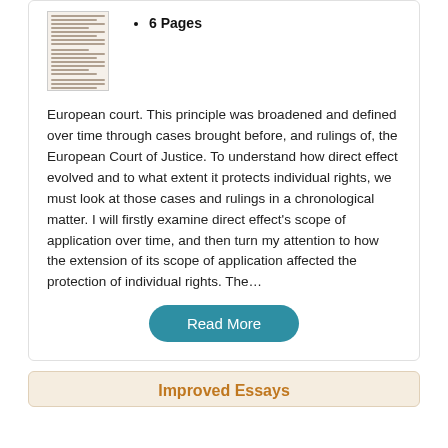[Figure (other): Thumbnail of a text document page]
6 Pages
European court. This principle was broadened and defined over time through cases brought before, and rulings of, the European Court of Justice. To understand how direct effect evolved and to what extent it protects individual rights, we must look at those cases and rulings in a chronological matter. I will firstly examine direct effect's scope of application over time, and then turn my attention to how the extension of its scope of application affected the protection of individual rights. The…
Read More
Improved Essays